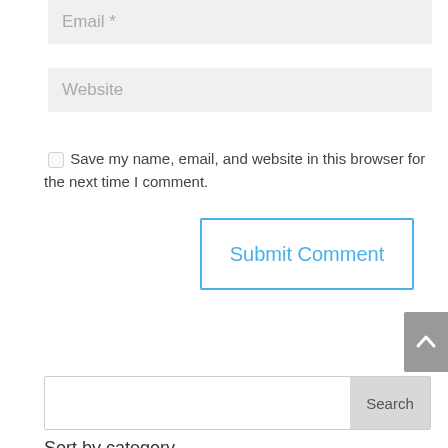[Figure (screenshot): Email input field with placeholder text 'Email *' on gray background]
[Figure (screenshot): Website input field with placeholder text 'Website' on gray background]
Save my name, email, and website in this browser for the next time I comment.
[Figure (screenshot): Submit Comment button with blue border and blue text]
[Figure (screenshot): Gray scroll-to-top button with upward chevron arrow]
[Figure (screenshot): Search input field with Search button]
Sort by category